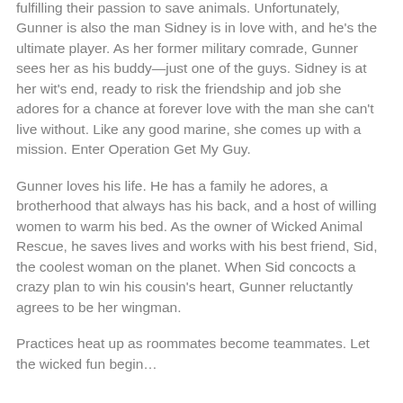fulfilling their passion to save animals. Unfortunately, Gunner is also the man Sidney is in love with, and he's the ultimate player. As her former military comrade, Gunner sees her as his buddy—just one of the guys. Sidney is at her wit's end, ready to risk the friendship and job she adores for a chance at forever love with the man she can't live without. Like any good marine, she comes up with a mission. Enter Operation Get My Guy.
Gunner loves his life. He has a family he adores, a brotherhood that always has his back, and a host of willing women to warm his bed. As the owner of Wicked Animal Rescue, he saves lives and works with his best friend, Sid, the coolest woman on the planet. When Sid concocts a crazy plan to win his cousin's heart, Gunner reluctantly agrees to be her wingman.
Practices heat up as roommates become teammates. Let the wicked fun begin…